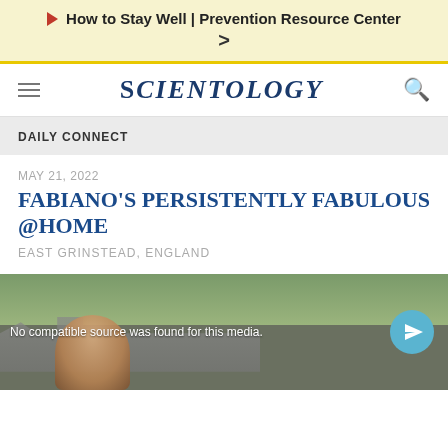How to Stay Well | Prevention Resource Center >
[Figure (logo): Scientology logo/wordmark in dark blue serif font with hamburger menu and search icon]
DAILY CONNECT
MAY 21, 2022
FABIANO'S PERSISTENTLY FABULOUS @HOME
EAST GRINSTEAD, ENGLAND
[Figure (photo): Video player with dark background showing a man smiling outdoors near a stone building. Text overlay reads: No compatible source was found for this media. A teal send/share button appears in the bottom right.]